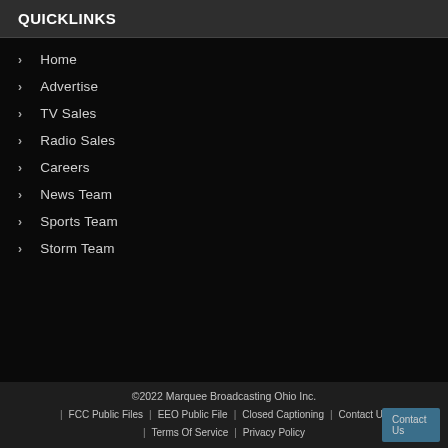QUICKLINKS
Home
Advertise
TV Sales
Radio Sales
Careers
News Team
Sports Team
Storm Team
©2022 Marquee Broadcasting Ohio Inc. | FCC Public Files | EEO Public File | Closed Captioning | Contact Us | Terms Of Service | Privacy Policy